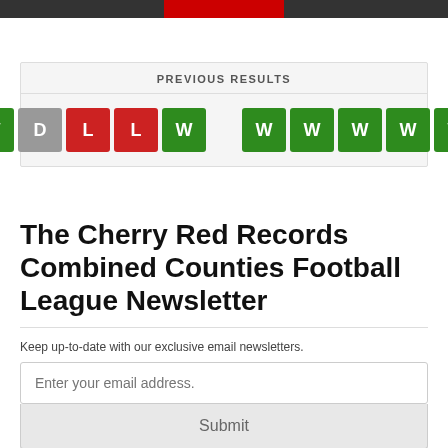PREVIOUS RESULTS
[Figure (infographic): Two groups of result badges: Group 1: W (green), D (grey), L (red), L (red), W (green). Group 2: W W W W W (all green). Separated by a vertical divider line.]
The Cherry Red Records Combined Counties Football League Newsletter
Keep up-to-date with our exclusive email newsletters.
Enter your email address.
Submit